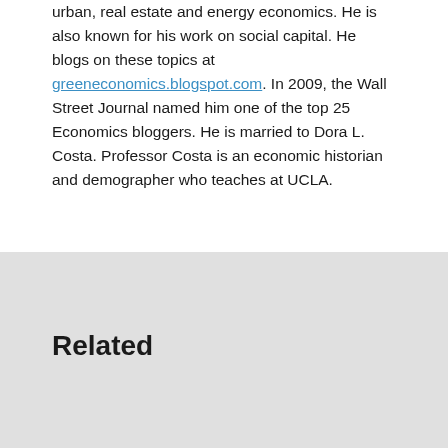urban, real estate and energy economics. He is also known for his work on social capital. He blogs on these topics at greeneconomics.blogspot.com. In 2009, the Wall Street Journal named him one of the top 25 Economics bloggers. He is married to Dora L. Costa. Professor Costa is an economic historian and demographer who teaches at UCLA.
Related
Sustainable Real Estate